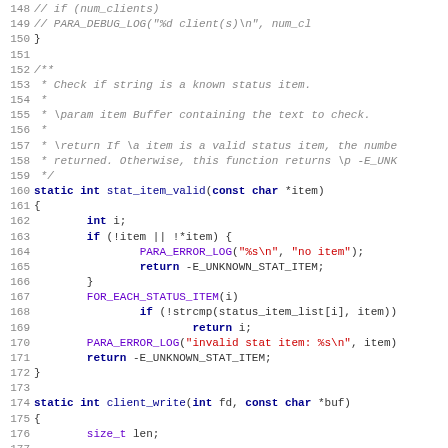Source code listing, lines 148-179, showing C code with syntax highlighting including comments, keywords, macros, and string literals.